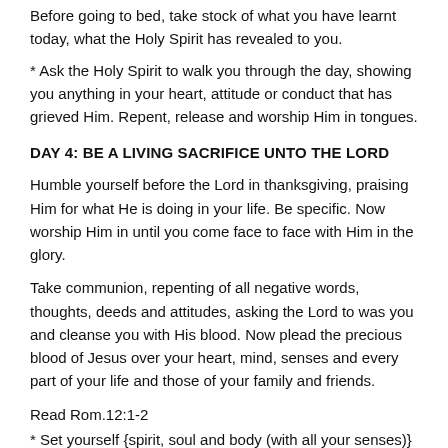Before going to bed, take stock of what you have learnt today, what the Holy Spirit has revealed to you.
* Ask the Holy Spirit to walk you through the day, showing you anything in your heart, attitude or conduct that has grieved Him. Repent, release and worship Him in tongues.
DAY 4: BE A LIVING SACRIFICE UNTO THE LORD
Humble yourself before the Lord in thanksgiving, praising Him for what He is doing in your life. Be specific. Now worship Him in until you come face to face with Him in the glory.
Take communion, repenting of all negative words, thoughts, deeds and attitudes, asking the Lord to was you and cleanse you with His blood. Now plead the precious blood of Jesus over your heart, mind, senses and every part of your life and those of your family and friends.
Read Rom.12:1-2
* Set yourself {spirit, soul and body (with all your senses)}